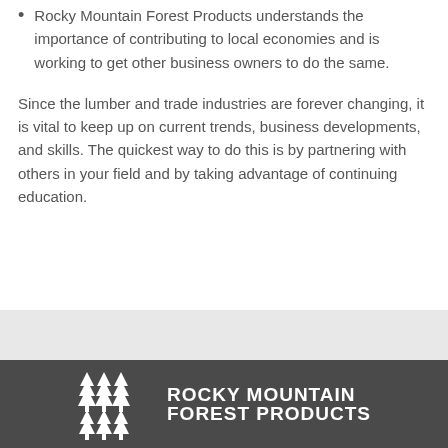Rocky Mountain Forest Products understands the importance of contributing to local economies and is working to get other business owners to do the same.
Since the lumber and trade industries are forever changing, it is vital to keep up on current trends, business developments, and skills. The quickest way to do this is by partnering with others in your field and by taking advantage of continuing education.
[Figure (logo): Rocky Mountain Forest Products logo — white stylized pine trees icon with 'ROCKY MOUNTAIN FOREST PRODUCTS' text in white on dark gray background]